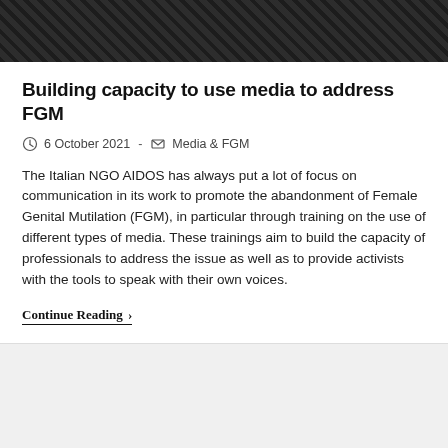[Figure (photo): Dark textured metallic background image at the top of the page]
Building capacity to use media to address FGM
6 October 2021  -  Media & FGM
The Italian NGO AIDOS has always put a lot of focus on communication in its work to promote the abandonment of Female Genital Mutilation (FGM), in particular through training on the use of different types of media. These trainings aim to build the capacity of professionals to address the issue as well as to provide activists with the tools to speak with their own voices.
Continue Reading >